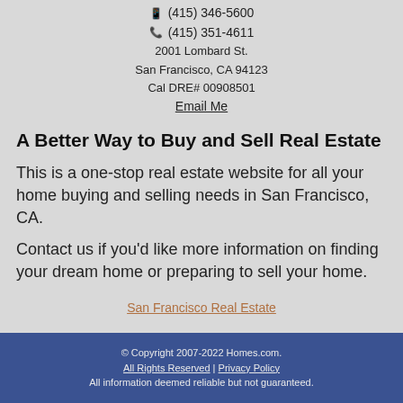(415) 346-5600
(415) 351-4611
2001 Lombard St.
San Francisco, CA 94123
Cal DRE# 00908501
Email Me
A Better Way to Buy and Sell Real Estate
This is a one-stop real estate website for all your home buying and selling needs in San Francisco, CA.
Contact us if you'd like more information on finding your dream home or preparing to sell your home.
San Francisco Real Estate
© Copyright 2007-2022 Homes.com. All Rights Reserved | Privacy Policy All information deemed reliable but not guaranteed. Powered by Homes.com